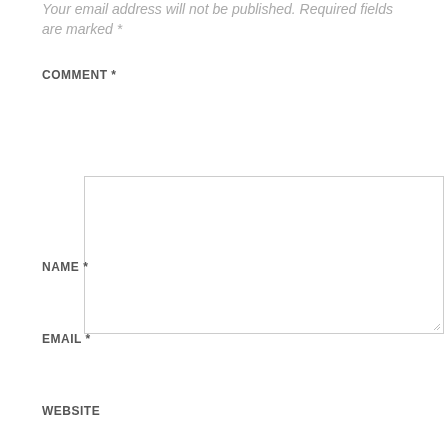Your email address will not be published. Required fields are marked *
COMMENT *
[Figure (other): Empty comment textarea input box with resize handle]
NAME *
[Figure (other): Empty name text input box]
EMAIL *
[Figure (other): Empty email text input box]
WEBSITE